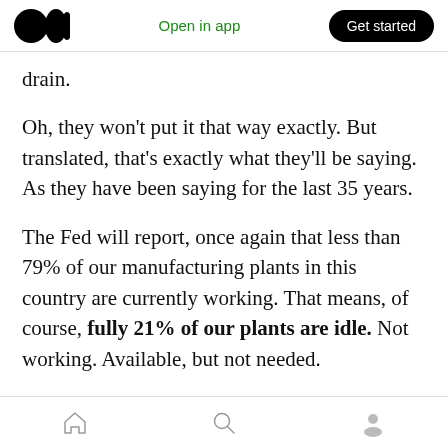Medium app header — Open in app | Get started
drain.
Oh, they won't put it that way exactly. But translated, that's exactly what they'll be saying. As they have been saying for the last 35 years.
The Fed will report, once again that less than 79% of our manufacturing plants in this country are currently working. That means, of course, fully 21% of our plants are idle. Not working. Available, but not needed.
As I say it's a trend. A very long-term trend.
Bottom navigation bar — Home | Search | Profile